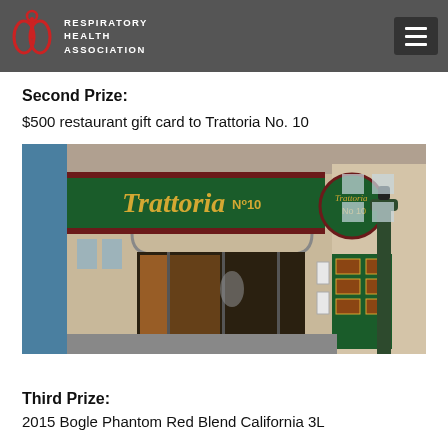RESPIRATORY HEALTH ASSOCIATION
Second Prize:
$500 restaurant gift card to Trattoria No. 10
[Figure (photo): Exterior photo of Trattoria No. 10 restaurant entrance with green awning sign in gold script lettering, revolving door, and street lamp post in foreground.]
Third Prize:
2015 Bogle Phantom Red Blend California 3L